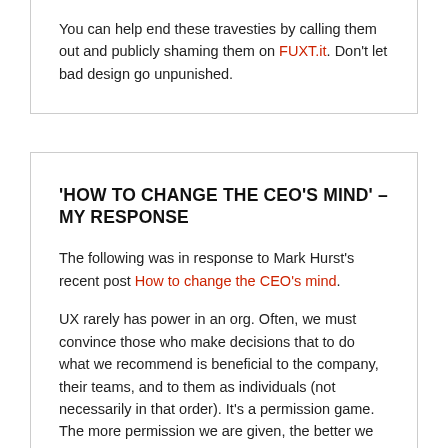You can help end these travesties by calling them out and publicly shaming them on FUXT.it. Don't let bad design go unpunished.
'HOW TO CHANGE THE CEO'S MIND' – MY RESPONSE
The following was in response to Mark Hurst's recent post How to change the CEO's mind.
UX rarely has power in an org. Often, we must convince those who make decisions that to do what we recommend is beneficial to the company, their teams, and to them as individuals (not necessarily in that order). It's a permission game. The more permission we are given, the better we are able to do our jobs.
Sometimes we have champions in the org that recognize our value and what we can deliver. Often there are those who at worst know